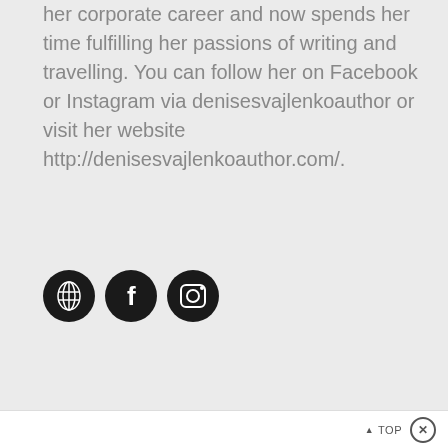her corporate career and now spends her time fulfilling her passions of writing and travelling. You can follow her on Facebook or Instagram via denisesvajlenkoauthor or visit her website http://denisesvajlenkoauthor.com/.
[Figure (illustration): Three circular social media icons: globe/website icon, Facebook icon, Instagram icon — all black circles with white symbols]
▲ TOP ✕